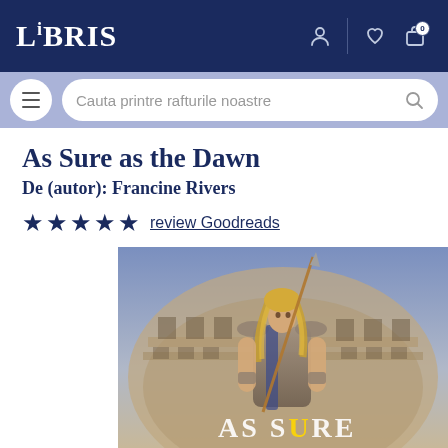LIBRIS
Cauta printre rafturile noastre
As Sure as the Dawn
De (autor): Francine Rivers
★★★★★ review Goodreads
[Figure (illustration): Book cover of 'As Sure as the Dawn' showing a gladiator-type warrior with long blonde hair holding a spear, standing in front of the Roman Colosseum. The title 'AS SURE' is partially visible at the bottom.]